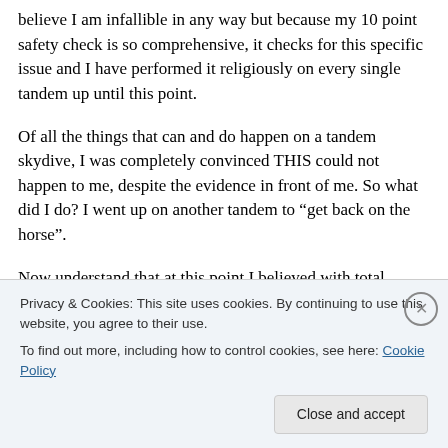believe I am infallible in any way but because my 10 point safety check is so comprehensive, it checks for this specific issue and I have performed it religiously on every single tandem up until this point.
Of all the things that can and do happen on a tandem skydive, I was completely convinced THIS could not happen to me, despite the evidence in front of me. So what did I do? I went up on another tandem to “get back on the horse”.
Now understand that at this point I believed with total
Privacy & Cookies: This site uses cookies. By continuing to use this website, you agree to their use.
To find out more, including how to control cookies, see here: Cookie Policy